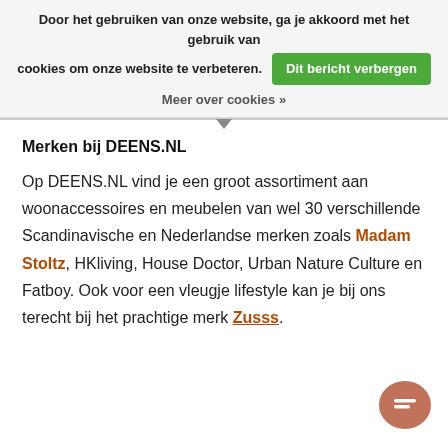Door het gebruiken van onze website, ga je akkoord met het gebruik van cookies om onze website te verbeteren. Dit bericht verbergen
Meer over cookies »
Merken bij DEENS.NL
Op DEENS.NL vind je een groot assortiment aan woonaccessoires en meubelen van wel 30 verschillende Scandinavische en Nederlandse merken zoals Madam Stoltz, HKliving, House Doctor, Urban Nature Culture en Fatboy. Ook voor een vleugje lifestyle kan je bij ons terecht bij het prachtige merk Zusss.
[Figure (other): Chat support button icon in brown/terracotta color at bottom right corner]